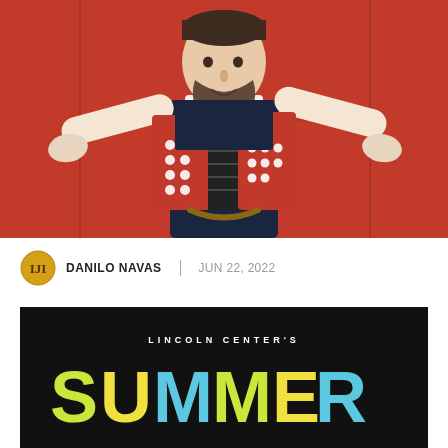[Figure (photo): A smiling man with a beard and dark vest over white shirt playing a red accordion, arms outstretched, posing against a red wall background.]
DANILO NAVAS | JUN 22, 2022
[Figure (illustration): Black background poster for Lincoln Center's Summer event. White text reads LINCOLN CENTER'S and large colorful letters spell SUMMER in yellow-green and blue.]